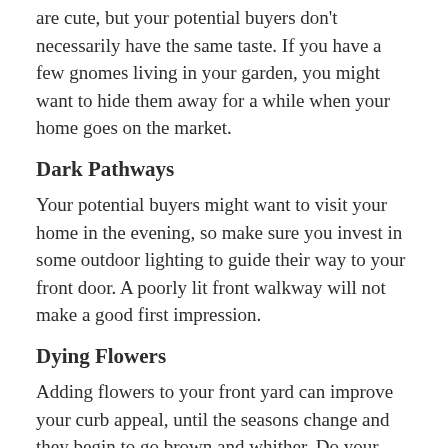are cute, but your potential buyers don't necessarily have the same taste. If you have a few gnomes living in your garden, you might want to hide them away for a while when your home goes on the market.
Dark Pathways
Your potential buyers might want to visit your home in the evening, so make sure you invest in some outdoor lighting to guide their way to your front door. A poorly lit front walkway will not make a good first impression.
Dying Flowers
Adding flowers to your front yard can improve your curb appeal, until the seasons change and they begin to go brown and whither. Do your best to keep up with the garden maintenance throughout the year so that